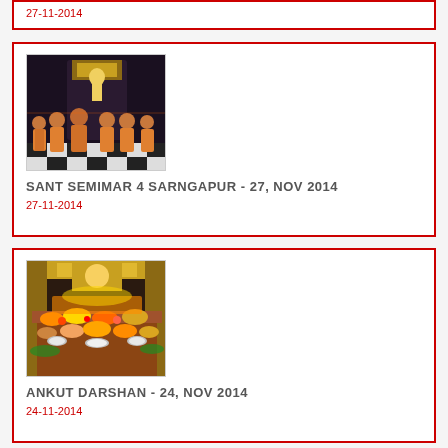27-11-2014
[Figure (photo): Group of monks/saints in orange robes standing in a temple]
SANT SEMIMAR 4 SARNGAPUR - 27, NOV 2014
27-11-2014
[Figure (photo): Temple offering/prasad display with flowers and food items]
ANKUT DARSHAN - 24, NOV 2014
24-11-2014